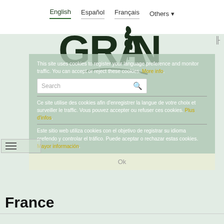English  Español  Français  Others
[Figure (logo): GRAIN organization logo — large bold text GRAIN with a wheat stalk illustration and swooping line beneath]
This site uses cookies to register your language preference and monitor traffic. You can accept or reject these cookies. More info.
Search
Ce site utilise des cookies afin d'enregistrer la langue de votre choix et surveiller le traffic. Vous pouvez accepter ou refuser ces cookies. Plus d'infos.
Este sitio web utiliza cookies con el objetivo de registrar su idioma prefendo y controlar el tráfico. Puede aceptar o rechazar estas cookies. Mayor información.
Ok
France